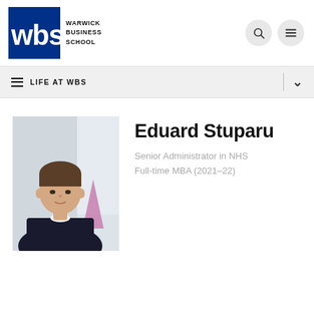[Figure (logo): Warwick Business School (WBS) logo — blue square with white 'wbs' lettering, next to bold uppercase text 'WARWICK BUSINESS SCHOOL']
LIFE AT WBS
[Figure (photo): Portrait photo of Eduard Stuparu, a young man wearing a dark sweater, standing indoors with a light background]
Eduard Stuparu
Senior Administrator in NHS
Full-time MBA (2021–22)